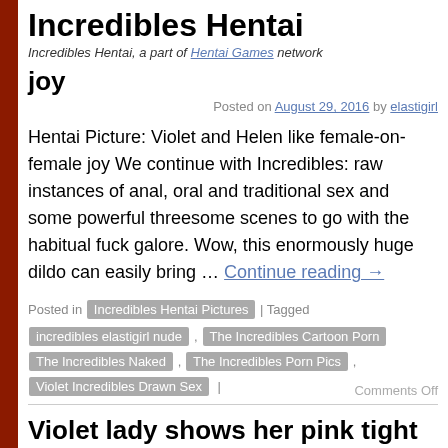Incredibles Hentai — Incredibles Hentai, a part of Hentai Games network
joy
Posted on August 29, 2016 by elastigirl
Hentai Picture: Violet and Helen like female-on-female joy We continue with Incredibles: raw instances of anal, oral and traditional sex and some powerful threesome scenes to go with the habitual fuck galore. Wow, this enormously huge dildo can easily bring … Continue reading →
Posted in Incredibles Hentai Pictures | Tagged incredibles elastigirl nude , The Incredibles Cartoon Porn , The Incredibles Naked , The Incredibles Porn Pics , Violet Incredibles Drawn Sex | Comments Off
Violet lady shows her pink tight slit
Posted on August 8, 2016 by elastigirl
Hentai Picture: Violet lady shows her pink tight slit Incredibles babes love getting naughty to give you a sneak